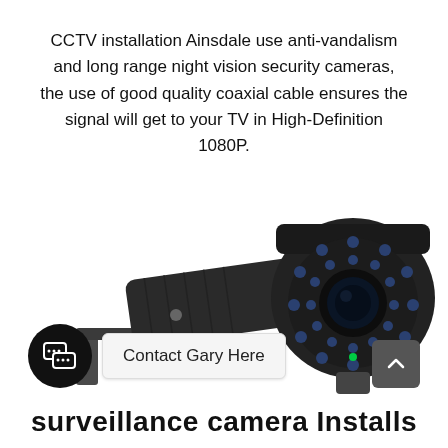CCTV installation Ainsdale use anti-vandalism and long range night vision security cameras, the use of good quality coaxial cable ensures the signal will get to your TV in High-Definition 1080P.
[Figure (photo): Two CCTV bullet cameras: left shows a side-view camera mounted on a wall bracket; right shows a front-view camera facing the viewer, both are dark/black colored with IR LEDs visible around the lens.]
Contact Gary Here
surveillance camera Installs